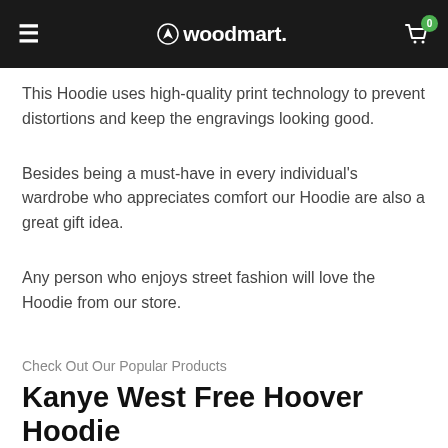woodmart.
This Hoodie uses high-quality print technology to prevent distortions and keep the engravings looking good.
Besides being a must-have in every individual's wardrobe who appreciates comfort our Hoodie are also a great gift idea.
Any person who enjoys street fashion will love the Hoodie from our store.
Check Out Our Popular Products
Kanye West Free Hoover Hoodie
Kanye West Jesus Is King Sweatshirt
Material:90%Cotton, 10%Polyester